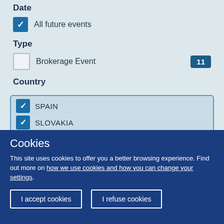Date
All future events (checked)
Type
Brokerage Event — 11
Country
SPAIN (checked)
SLOVAKIA (checked)
BOSNIA AND HERZEGOVINA (checked)
SERBIA (partially visible, checked)
Cookies
This site uses cookies to offer you a better browsing experience. Find out more on how we use cookies and how you can change your settings.
I accept cookies | I refuse cookies